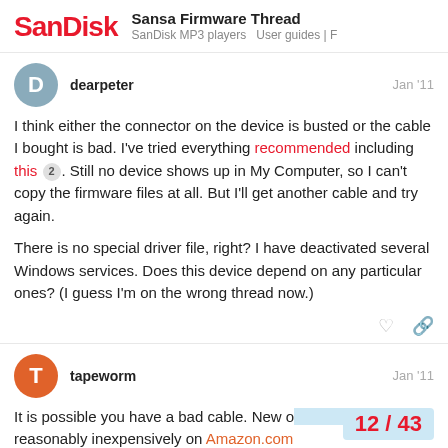SanDisk — Sansa Firmware Thread — SanDisk MP3 players  User guides | F
dearpeter  Jan '11
I think either the connector on the device is busted or the cable I bought is bad. I've tried everything recommended including this 2 . Still no device shows up in My Computer, so I can't copy the firmware files at all. But I'll get another cable and try again.

There is no special driver file, right? I have deactivated several Windows services. Does this device depend on any particular ones? (I guess I'm on the wrong thread now.)
tapeworm  Jan '11
It is possible you have a bad cable. New o reasonably inexpensively on Amazon.com
12 / 43